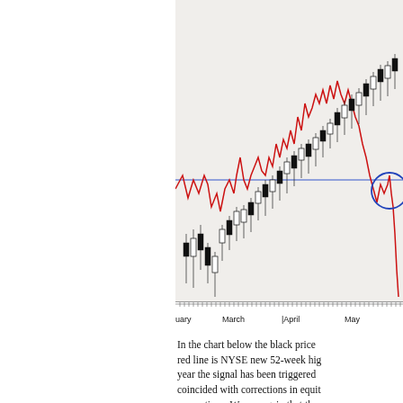[Figure (continuous-plot): Stock price candlestick chart (black) with NYSE new 52-week highs overlay (red line) and a horizontal blue reference line. A blue circle highlights a recent crossover signal near May. X-axis shows months: January, March, April, May.]
In the chart below the black price red line is NYSE new 52-week hig year the signal has been triggered coincided with corrections in equit proportions. We see again that th